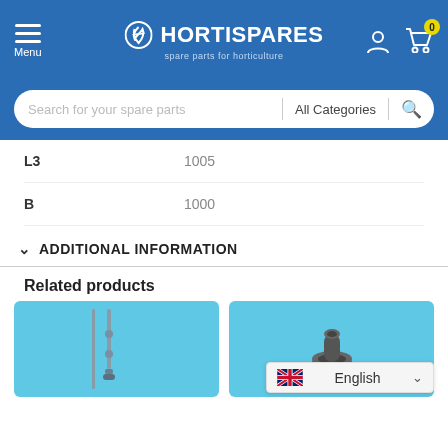[Figure (screenshot): HortiSpares website header with logo, menu icon, user icon, and cart icon with badge 0]
[Figure (screenshot): Search bar with placeholder 'Search for your spare parts', All Categories dropdown, and search button]
| Property | Value |
| --- | --- |
| L3 | 1005 |
| B | 1000 |
ADDITIONAL INFORMATION
Related products
[Figure (photo): Product photo of a long thin metal rod/spike component on light blue background]
[Figure (photo): Product photo of a dark grey pipe fitting/connector component on light blue background]
[Figure (screenshot): Language selector showing UK flag and English with dropdown chevron]